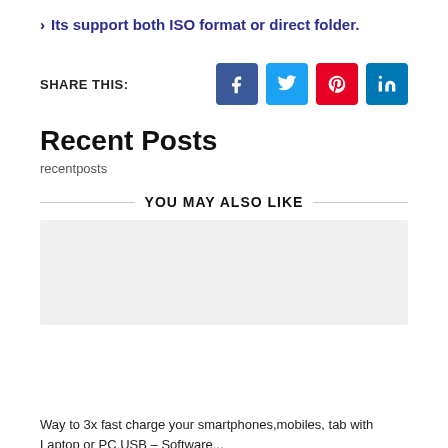Its support both ISO format or direct folder.
SHARE THIS:
[Figure (other): Social share icons: Facebook, Twitter, Pinterest, LinkedIn]
Recent Posts
recentposts
YOU MAY ALSO LIKE
Way to 3x fast charge your smartphones,mobiles, tab with Laptop or PC USB – Software...